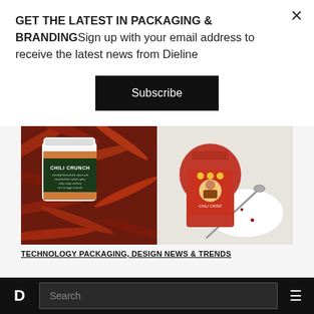GET THE LATEST IN PACKAGING & BRANDINGSign up with your email address to receive the latest news from Dieline
Subscribe
[Figure (photo): Two chili crisp jars side by side: left shows a Chili Crunch jar on dried red chili peppers background; right shows a red-labeled Asian chili crisp jar with a spoon on a white plate on a light marble surface.]
TECHNOLOGY PACKAGING, DESIGN NEWS & TRENDS
Search
D